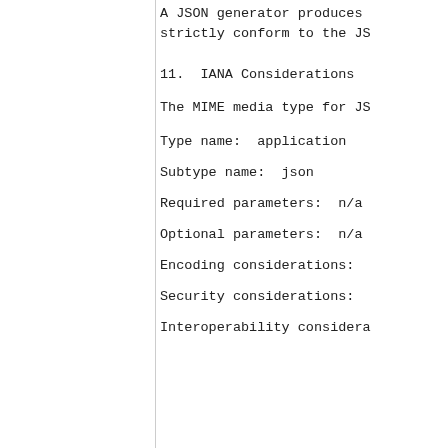A JSON generator produces strictly conform to the JS
11.  IANA Considerations
The MIME media type for JS
Type name:  application
Subtype name:  json
Required parameters:  n/a
Optional parameters:  n/a
Encoding considerations:
Security considerations:
Interoperability considera